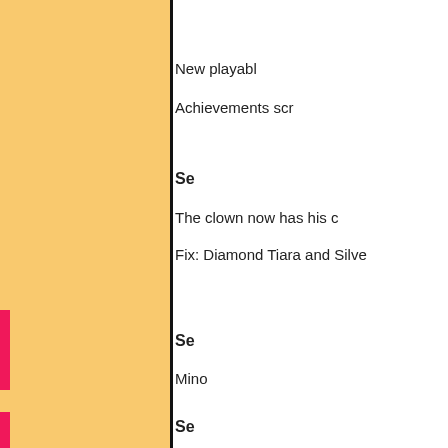[Figure (other): Left panel with orange/yellow background color and pink accent bar on the left edge]
New playabl
Achievements scr
Se
The clown now has his c
Fix: Diamond Tiara and Silve
Se
Mino
Se
Fate and Suguri now have full ju
Fi
S